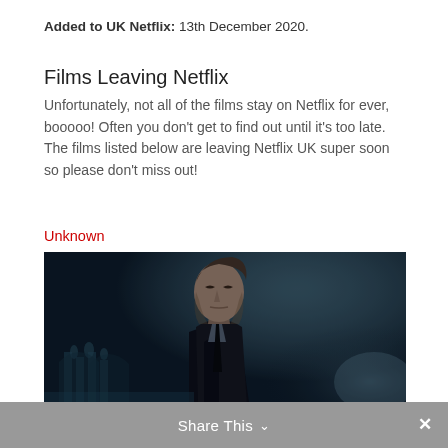Added to UK Netflix: 13th December 2020.
Films Leaving Netflix
Unfortunately, not all of the films stay on Netflix for ever, booooo! Often you don't get to find out until it's too late. The films listed below are leaving Netflix UK super soon so please don't miss out!
Unknown
[Figure (photo): Movie promotional image showing a man in a dark suit with a serious expression, standing in front of a monument in a misty, dark setting (appears to be from the film 'Unknown' featuring Liam Neeson)]
Share This ∨  ✕